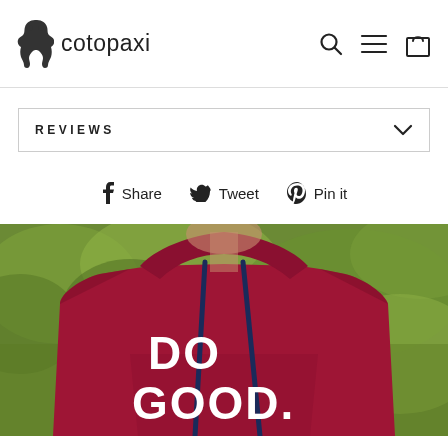cotopaxi — navigation header with logo, search, menu, and cart icons
REVIEWS
Share   Tweet   Pin it
[Figure (photo): Person wearing a crimson/dark red hoodie with 'DO GOOD.' printed in white bold letters on the chest, with navy blue drawstrings and blurred green foliage in background]